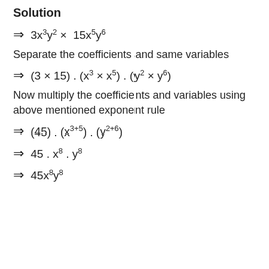Solution
Separate the coefficients and same variables
Now multiply the coefficients and variables using above mentioned exponent rule